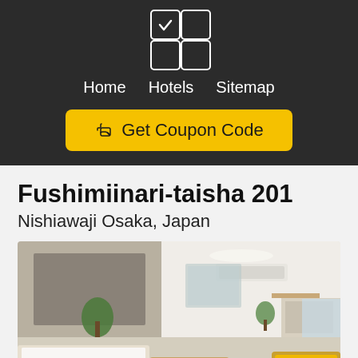[Figure (other): Website header with dark background containing a 2x2 icon grid (top-left has a checkmark), navigation links (Home, Hotels, Sitemap), and a yellow Get Coupon Code button]
Fushimiinari-taisha 201
Nishiawaji Osaka, Japan
[Figure (photo): Interior photo of a Japanese apartment room with yellow pillows/cushions on beds/sofas, a wooden dining table, white walls, an air conditioning unit, and green plants]